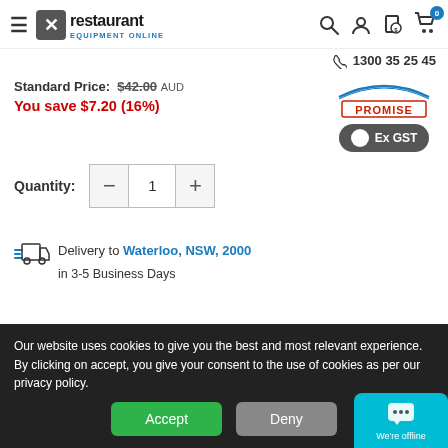Restaurant Equipment Online — 1300 35 25 45
Standard Price: $42.00 AUD
You save $7.20 (16%)
[Figure (logo): Promise badge with swoosh and stamp]
Ex GST toggle button
Quantity: 1
Delivery to Waterloo, NSW, 2000 in 3-5 Business Days
Our website uses cookies to give you the best and most relevant experience. By clicking on accept, you give your consent to the use of cookies as per our privacy policy.
Accept | Deny
We're offline